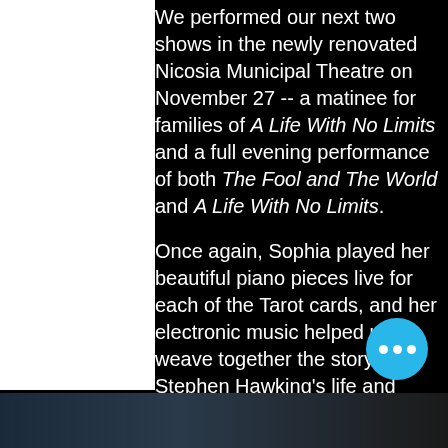We performed our next two shows in the newly renovated Nicosia Municipal Theatre on November 27 -- a matinee for families of A Life With No Limits and a full evening performance of both The Fool and The World and A Life With No Limits.
Once again, Sophia played her beautiful piano pieces live for each of the Tarot cards, and her electronic music helped us weave together the story of Stephen Hawking's life and accomplishments.